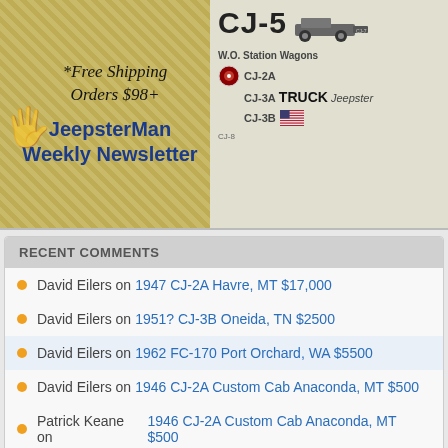[Figure (advertisement): JeepsterMan advertisement banner showing '*Free Shipping Orders $98+' and 'JeepsterMan Weekly Newsletter' on the left with decorative diagonal pattern. Right side shows CJ-5 model jeep illustration with CJ-2A, CJ-3A, CJ-3B labels and TRUCK Jeepster text.]
RECENT COMMENTS
David Eilers on 1947 CJ-2A Havre, MT $17,000
David Eilers on 1951? CJ-3B Oneida, TN $2500
David Eilers on 1962 FC-170 Port Orchard, WA $5500
David Eilers on 1946 CJ-2A Custom Cab Anaconda, MT $500
Patrick Keane on 1946 CJ-2A Custom Cab Anaconda, MT $500
Blaine on 1962 FC-170 Port Orchard, WA $5500
bRIAN wILSON on 1946 CJ-2A Custom Cab Anaconda, MT $500
Craig in ME on 1947 CJ-2A Havre, MT $17,000
Craig/Vermont on 1951? CJ-3B Oneida, TN $2500
Craig/Vermont on 1948 CJ-2A Stevenson, AL $2400